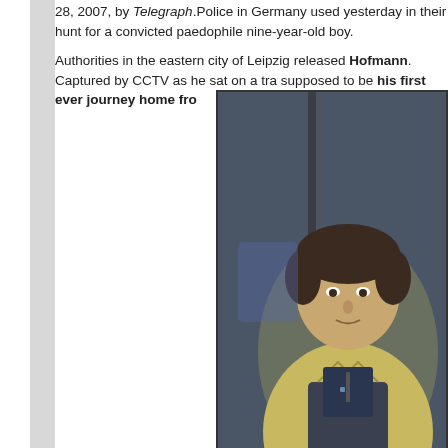28, 2007, by Telegraph.Police in Germany used yesterday in their hunt for a convicted paedophile nine-year-old boy.
Authorities in the eastern city of Leipzig released Hofmann. Captured by CCTV as he sat on a tra supposed to be his first ever journey home fro
[Figure (photo): CCTV image of a man (Hofmann) sitting on a tram, wearing a light yellow jacket over a dark shirt, with curly dark hair.]
But the man sitting next to him was named by after serving two years in prison for sexually
In an unusual step by police, they stated that the sexually abused and murdered Mitja.
The boy's body was found on Saturday evening
Police said that he had died after being strangled